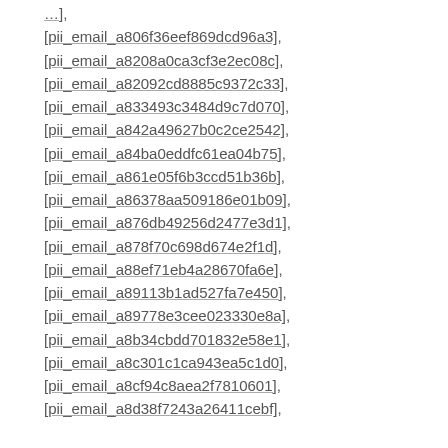[pii_email_a806f36eef869dcd96a3],
[pii_email_a8208a0ca3cf3e2ec08c],
[pii_email_a82092cd8885c9372c33],
[pii_email_a833493c3484d9c7d070],
[pii_email_a842a49627b0c2ce2542],
[pii_email_a84ba0eddfc61ea04b75],
[pii_email_a861e05f6b3ccd51b36b],
[pii_email_a86378aa509186e01b09],
[pii_email_a876db49256d2477e3d1],
[pii_email_a878f70c698d674e2f1d],
[pii_email_a88ef71eb4a28670fa6e],
[pii_email_a89113b1ad527fa7e450],
[pii_email_a89778e3cee023330e8a],
[pii_email_a8b34cbdd701832e58e1],
[pii_email_a8c301c1ca943ea5c1d0],
[pii_email_a8cf94c8aea2f7810601],
[pii_email_a8d38f7243a26411cebf],